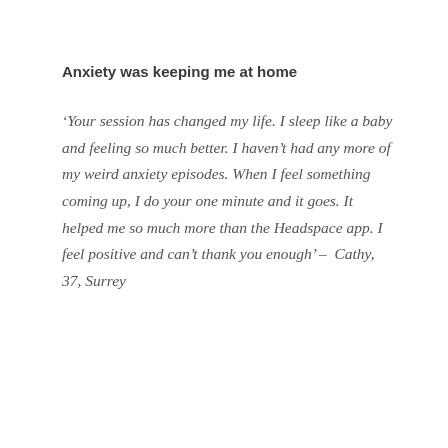Anxiety was keeping me at home
‘Your session has changed my life. I sleep like a baby and feeling so much better. I haven’t had any more of my weird anxiety episodes. When I feel something coming up, I do your one minute and it goes. It helped me so much more than the Headspace app. I feel positive and can’t thank you enough’ –  Cathy, 37, Surrey